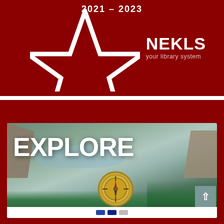[Figure (logo): NEKLS library system logo on dark red background with white star outline and text '2021-2023' at top, NEKLS your library system branding on right]
LIBRARY CATALOG
[Figure (photo): Photo of a person holding a brass compass with cliffs, water, and trees in background. Large white text 'EXPLORE' overlaid. Scroll-to-top button in lower right. Navigation bar at bottom.]